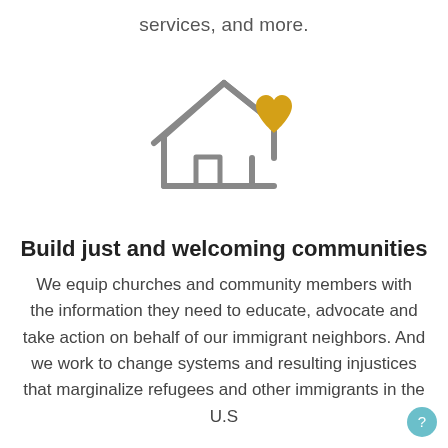services, and more.
[Figure (illustration): A house outline icon in grey with a yellow/gold heart overlapping the upper-right of the house, symbolizing welcoming communities.]
Build just and welcoming communities
We equip churches and community members with the information they need to educate, advocate and take action on behalf of our immigrant neighbors. And we work to change systems and resulting injustices that marginalize refugees and other immigrants in the U.S.